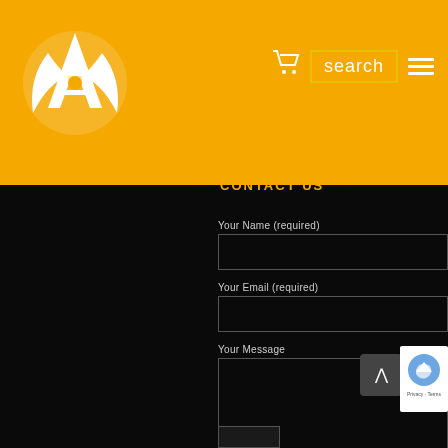[Figure (logo): White stylized letter A with record/vinyl design on golden yellow header background]
search
Contact us
Your Name (required)
Your Email (required)
Your Message
[Figure (other): reCAPTCHA widget with Privacy - Terms text]